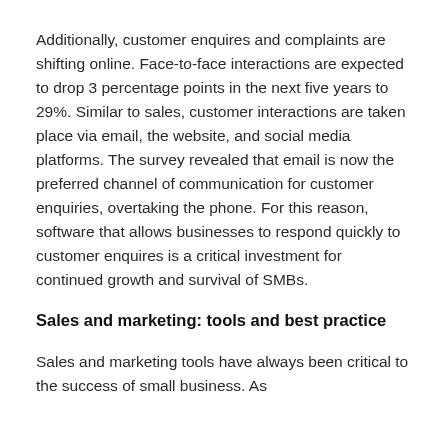Additionally, customer enquires and complaints are shifting online. Face-to-face interactions are expected to drop 3 percentage points in the next five years to 29%. Similar to sales, customer interactions are taken place via email, the website, and social media platforms. The survey revealed that email is now the preferred channel of communication for customer enquiries, overtaking the phone. For this reason, software that allows businesses to respond quickly to customer enquires is a critical investment for continued growth and survival of SMBs.
Sales and marketing: tools and best practice
Sales and marketing tools have always been critical to the success of small business. As